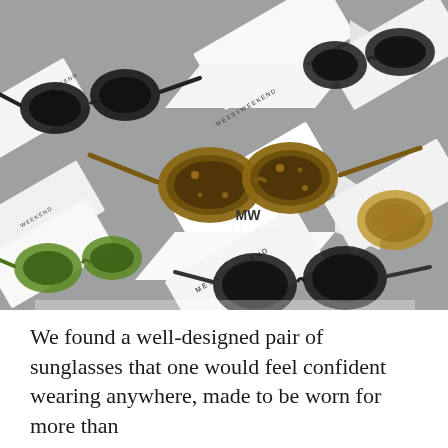[Figure (photo): A flat-lay style product photo showing multiple pairs of MESSYWEEKEND brand sunglasses displayed on white rectangular boxes/packaging against a gray background. Various styles visible including tortoise shell, black, green, and silver/gold frames. The boxes have MESSYWEEKEND branding printed on them.]
We found a well-designed pair of sunglasses that one would feel confident wearing anywhere, made to be worn for more than